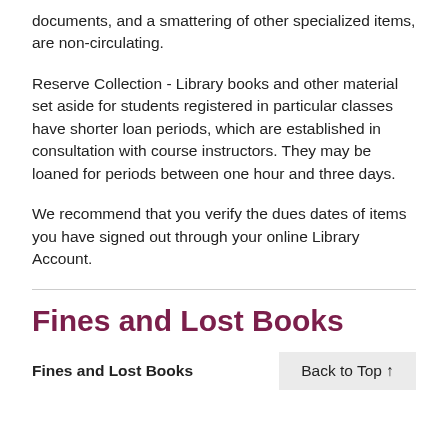documents, and a smattering of other specialized items, are non-circulating.
Reserve Collection - Library books and other material set aside for students registered in particular classes have shorter loan periods, which are established in consultation with course instructors. They may be loaned for periods between one hour and three days.
We recommend that you verify the dues dates of items you have signed out through your online Library Account.
Fines and Lost Books
Fines and Lost Books
Back to Top ↑